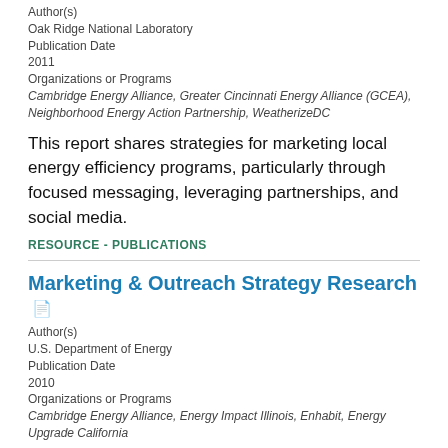Author(s)
Oak Ridge National Laboratory
Publication Date
2011
Organizations or Programs
Cambridge Energy Alliance, Greater Cincinnati Energy Alliance (GCEA), Neighborhood Energy Action Partnership, WeatherizeDC
This report shares strategies for marketing local energy efficiency programs, particularly through focused messaging, leveraging partnerships, and social media.
RESOURCE - PUBLICATIONS
Marketing & Outreach Strategy Research
Author(s)
U.S. Department of Energy
Publication Date
2010
Organizations or Programs
Cambridge Energy Alliance, Energy Impact Illinois, Enhabit, Energy Upgrade California
This presentation summarizes the market research that